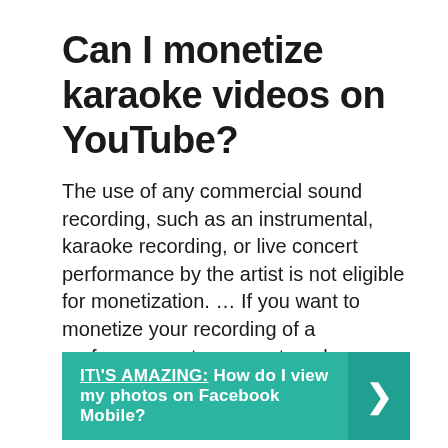Can I monetize karaoke videos on YouTube?
The use of any commercial sound recording, such as an instrumental, karaoke recording, or live concert performance by the artist is not eligible for monetization. … If you want to monetize your recording of a performance at a concert or show, you need explicit written permission from the original rights owner.
IT\'S AMAZING:  How do I view my photos on Facebook Mobile?
How do I get permission to